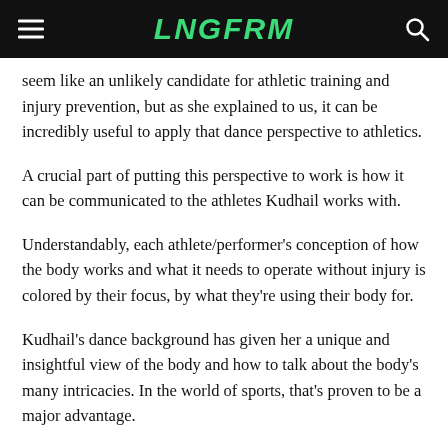LNGFRM
seem like an unlikely candidate for athletic training and injury prevention, but as she explained to us, it can be incredibly useful to apply that dance perspective to athletics.
A crucial part of putting this perspective to work is how it can be communicated to the athletes Kudhail works with.
Understandably, each athlete/performer's conception of how the body works and what it needs to operate without injury is colored by their focus, by what they're using their body for.
Kudhail's dance background has given her a unique and insightful view of the body and how to talk about the body's many intricacies. In the world of sports, that's proven to be a major advantage.